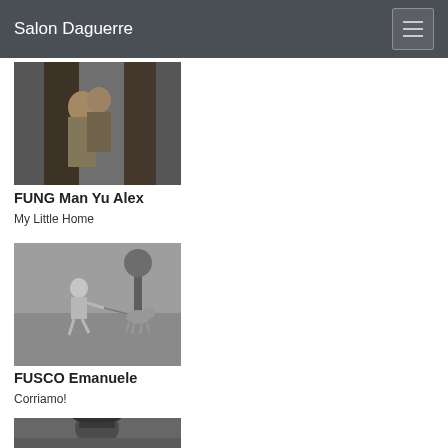Salon Daguerre
[Figure (photo): Black and white photo of two children peering from behind a tree trunk]
FUNG Man Yu Alex
My Little Home
[Figure (photo): Black and white photo of a child running with a dog on a leash in an open area]
FUSCO Emanuele
Corriamo!
[Figure (photo): Black and white photo of a person wearing a hat, partially visible at bottom of page]